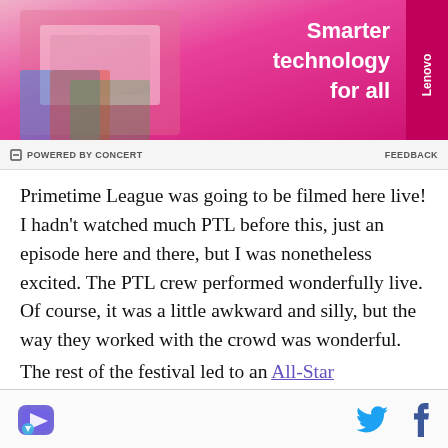[Figure (photo): Lenovo advertisement banner with pink/red gradient background, person holding a laptop, text 'Smarter technology for all' and Lenovo branding tab on right side.]
POWERED BY CONCERT   FEEDBACK
Primetime League was going to be filmed here live! I hadn't watched much PTL before this, just an episode here and there, but I was nonetheless excited. The PTL crew performed wonderfully live. Of course, it was a little awkward and silly, but the way they worked with the crowd was wonderful.
The rest of the festival led to an All-Star Deathmatch between two teams filled with League celebrities.
[Figure (logo): Website footer with a purple/blue gaming-style logo icon on the left, and Twitter and Facebook social media icons on the right.]